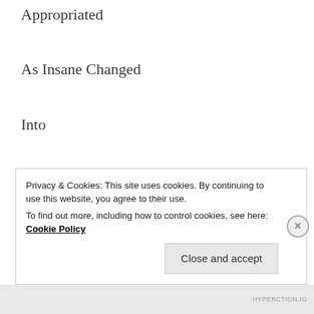Appropriated
As Insane Changed
Into
Sane
In Terms
Of
Essence
Privacy & Cookies: This site uses cookies. By continuing to use this website, you agree to their use.
To find out more, including how to control cookies, see here: Cookie Policy
HYPERCTION.IO